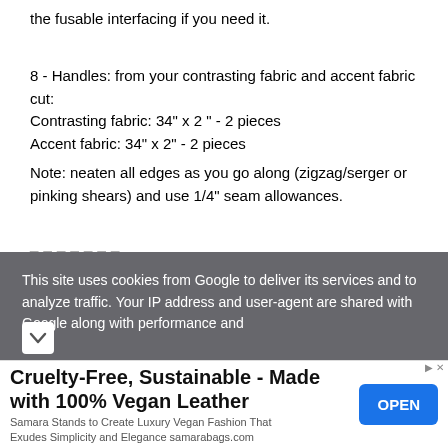the fusable interfacing if you need it.
8 - Handles: from your contrasting fabric and accent fabric cut:
Contrasting fabric: 34" x 2 " - 2 pieces
Accent fabric: 34" x 2" - 2 pieces
Note: neaten all edges as you go along (zigzag/serger or pinking shears) and use 1/4" seam allowances.
This site uses cookies from Google to deliver its services and to analyze traffic. Your IP address and user-agent are shared with Google along with performance and
Cruelty-Free, Sustainable - Made with 100% Vegan Leather
Samara Stands to Create Luxury Vegan Fashion That Exudes Simplicity and Elegance samarabags.com